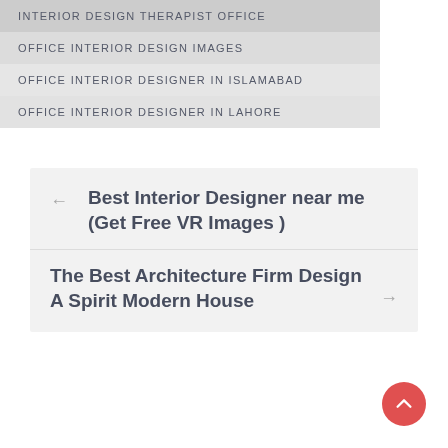INTERIOR DESIGN THERAPIST OFFICE
OFFICE INTERIOR DESIGN IMAGES
OFFICE INTERIOR DESIGNER IN ISLAMABAD
OFFICE INTERIOR DESIGNER IN LAHORE
← Best Interior Designer near me (Get Free VR Images )
The Best Architecture Firm Design A Spirit Modern House →